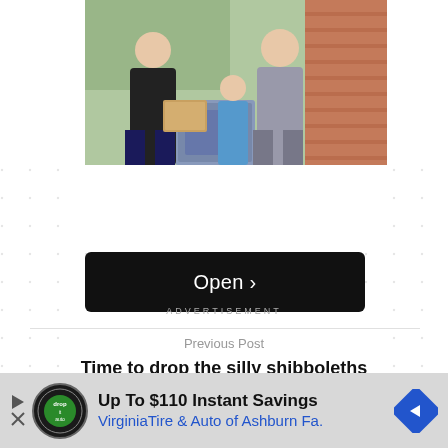[Figure (photo): Photo of a technician in a dark shirt handing paperwork to a man and child outdoors near an HVAC unit, brick wall and lattice in background]
Open >
ADVERTISEMENT
Previous Post
Time to drop the silly shibboleths
[Figure (infographic): Ad banner: Up To $110 Instant Savings — VirginiaTire & Auto of Ashburn Fa. with logo and blue diamond arrow icon]